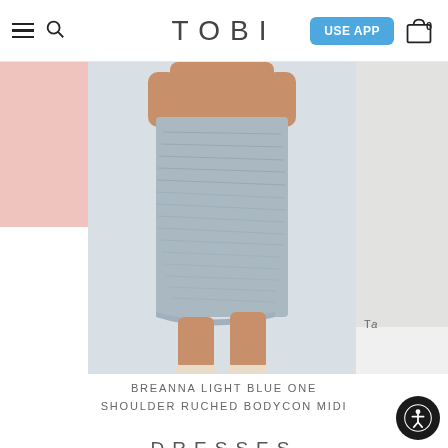TOBI
[Figure (photo): Model wearing a light blue one shoulder ruched bodycon midi skirt/dress, standing against a light grey background, wearing white sandals. Product page from Tobi fashion website.]
BREANNA LIGHT BLUE ONE SHOULDER RUCHED BODYCON MIDI
DRESSES
[Figure (photo): Partial image of another product below the DRESSES section header, partially visible at the bottom of the page.]